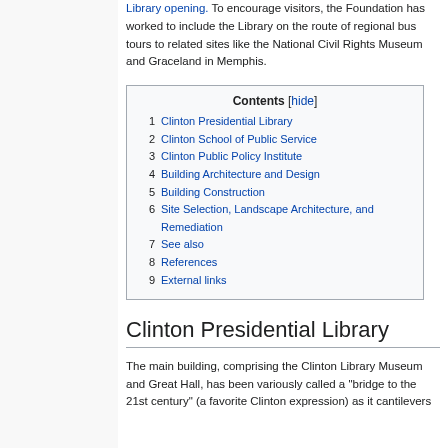Library opening. To encourage visitors, the Foundation has worked to include the Library on the route of regional bus tours to related sites like the National Civil Rights Museum and Graceland in Memphis.
| Contents |
| --- |
| 1 Clinton Presidential Library |
| 2 Clinton School of Public Service |
| 3 Clinton Public Policy Institute |
| 4 Building Architecture and Design |
| 5 Building Construction |
| 6 Site Selection, Landscape Architecture, and Remediation |
| 7 See also |
| 8 References |
| 9 External links |
Clinton Presidential Library
The main building, comprising the Clinton Library Museum and Great Hall, has been variously called a "bridge to the 21st century" (a favorite Clinton expression) as it cantilevers